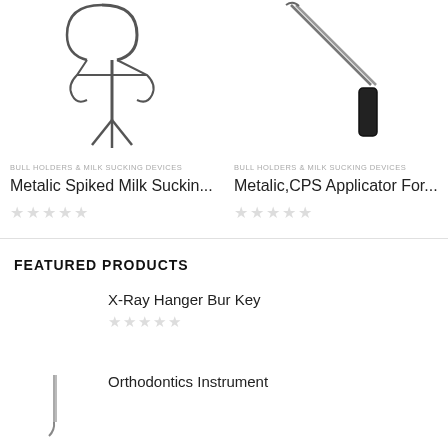[Figure (photo): Metalic spiked milk sucking device - metal clamp/hook instrument]
BULL HOLDERS & MILK SUCKING DEVICES
Metalic Spiked Milk Suckin...
[Figure (photo): Metalic CPS Applicator - long metal rod instrument with black handle]
BULL HOLDERS & MILK SUCKING DEVICES
Metalic,CPS Applicator For...
FEATURED PRODUCTS
X-Ray Hanger Bur Key
Orthodontics Instrument